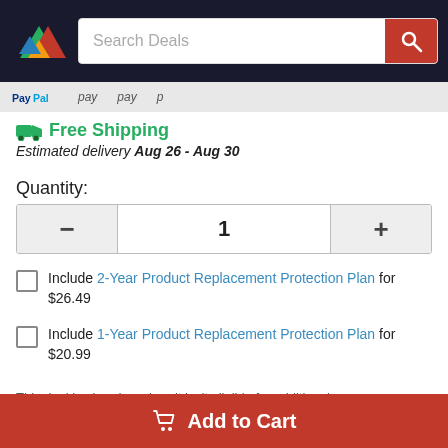Search Deals
PayPal — pay
🚚 Free Shipping
Estimated delivery Aug 26 - Aug 30
Quantity:
1
Include 2-Year Product Replacement Protection Plan for $26.49
Include 1-Year Product Replacement Protection Plan for $20.99
This deal is already so low, it isn't eligible for additional
🛒 Add to Cart